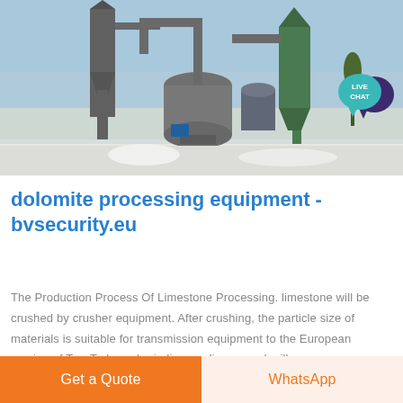[Figure (photo): Industrial dolomite/limestone processing equipment with large grinding mills, dust collectors, pipes and conveyors in an outdoor industrial setting with snow on the ground and blue sky background.]
[Figure (other): Live Chat speech bubble icon in teal and dark purple colors, positioned in upper right area.]
dolomite processing equipment - bvsecurity.eu
The Production Process Of Limestone Processing. limestone will be crushed by crusher equipment. After crushing, the particle size of materials is suitable for transmission equipment to the European version of T or T shaped grinding medium speed mill.
Get a Quote
WhatsApp